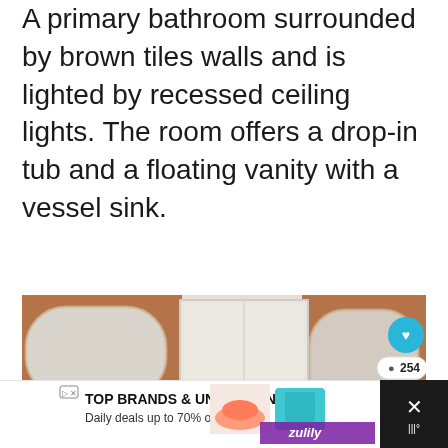A primary bathroom surrounded by brown tiles walls and is lighted by recessed ceiling lights. The room offers a drop-in tub and a floating vanity with a vessel sink.
[Figure (photo): Interior photo of a luxurious primary bathroom with brown marble tile walls, arched mirrors, vanity with vessel sink and gold faucets, a glass shower enclosure, recessed ceiling lights, and a large drop-in/jetted tub in the foreground.]
[Figure (screenshot): Advertisement banner for Zulily: 'TOP BRANDS & UNIQUE FINDS - Daily deals up to 70% off' with images of shoes and a turquoise purse, and a Zulily logo.]